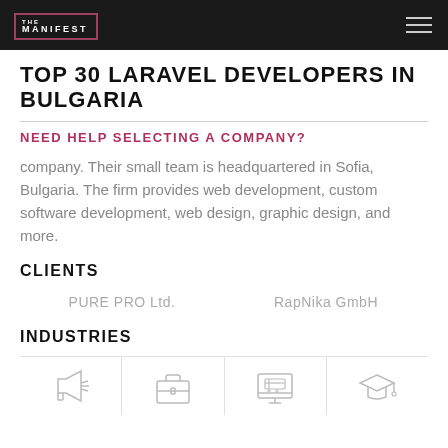THE MANIFEST
TOP 30 LARAVEL DEVELOPERS IN BULGARIA
NEED HELP SELECTING A COMPANY?
company. Their small team is headquartered in Sofia, Bulgaria. The firm provides web development, custom software development, web design, graphic design, and more.
CLIENTS
PURE PRO Ltd.
RapNika GmbH
INDUSTRIES
[Figure (illustration): Four industry icons: megaphone (advertising), briefcase (business), computer monitor with cart (e-commerce), graduation cap (education)]